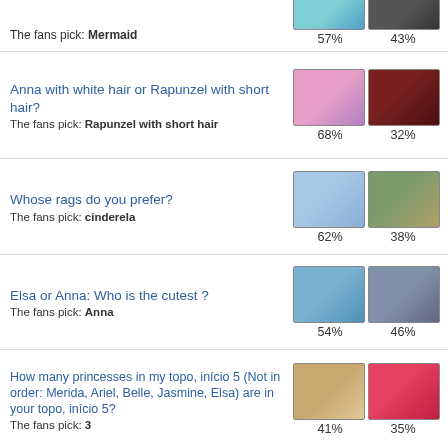The fans pick: Mermaid
57%  43%
Anna with white hair or Rapunzel with short hair?
The fans pick: Rapunzel with short hair
68%  32%
Whose rags do you prefer?
The fans pick: cinderela
62%  38%
Elsa or Anna: Who is the cutest?
The fans pick: Anna
54%  46%
How many princesses in my topo, início 5 (Not in order: Merida, Ariel, Belle, Jasmine, Elsa) are in your topo, início 5?
The fans pick: 3
41%  35%